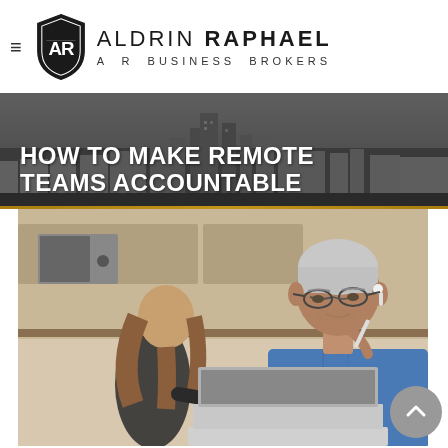ALDRIN RAPHAEL A R BUSINESS BROKERS
HOW TO MAKE REMOTE TEAMS ACCOUNTABLE
[Figure (photo): Man in blue shirt wearing earphones working on laptop in an office, with a woman writing in the background]